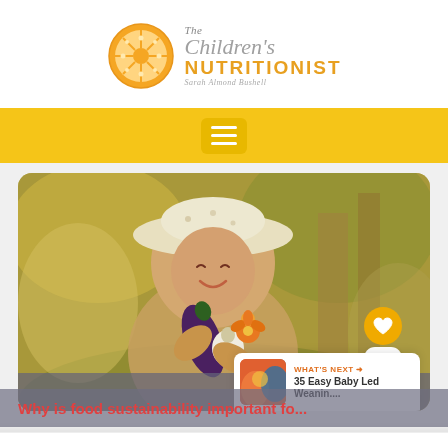[Figure (logo): The Children's Nutritionist logo with orange slice graphic and text 'The Children's NUTRITIONIST Sarah Almond Bushell']
[Figure (other): Yellow navigation bar with hamburger menu button]
[Figure (photo): Photo of a young child wearing a straw hat, smiling and holding vegetables including an eggplant and flower, outdoors with blurred green background]
Why is food sustainability important fo...
Share This
WHAT'S NEXT → 35 Easy Baby Led Weanin....
Privacy · T...